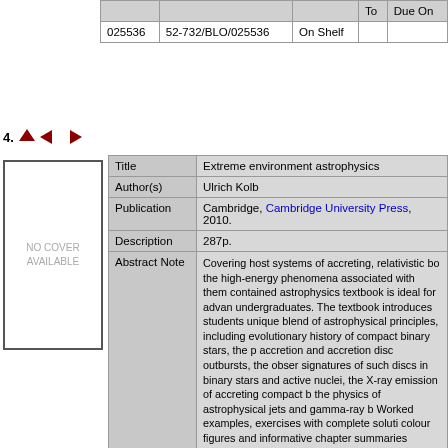|  |  |  | To | Due On |
| --- | --- | --- | --- | --- |
| 025536 | 52-732/BLO/025536 | On Shelf |  |  |
+Copy Specific Information
4. ↑ ← →
[Figure (illustration): No cover available placeholder box]
| Field | Value |
| --- | --- |
| Title | Extreme environment astrophysics |
| Author(s) | Ulrich Kolb |
| Publication | Cambridge, Cambridge University Press, 2010. |
| Description | 287p. |
| Abstract Note | Covering host systems of accreting, relativistic bo the high-energy phenomena associated with them contained astrophysics textbook is ideal for advan undergraduates. The textbook introduces students unique blend of astrophysical principles, including evolutionary history of compact binary stars, the p accretion and accretion disc outbursts, the obser signatures of such discs in binary stars and active nuclei, the X-ray emission of accreting compact b the physics of astrophysical jets and gamma-ray b Worked examples, exercises with complete soluti colour figures and informative chapter summaries students through their studies. Boxed equations a facts highlight important points. Produced by aca drawing on decades of experience delivering cou Open University and concentrating on supported this textbook is an ideal guide for self-study. |
| ISBN,Price | 97805211933443 : EURO 35.00(HB) |